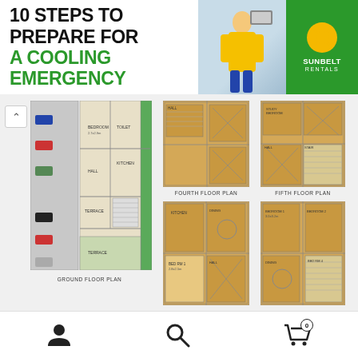[Figure (illustration): Advertisement banner: '10 STEPS TO PREPARE FOR A COOLING EMERGENCY' with worker image and Sunbelt Rentals logo]
[Figure (engineering-diagram): Architectural floor plans showing Ground Floor Plan, Fourth Floor Plan, Fifth Floor Plan, Second Floor Plan, and Third Floor Plan for a house plot 20x20]
GROUND FLOOR PLAN
FOURTH FLOOR PLAN
FIFTH FLOOR PLAN
SECOND FLOOR PLAN
THIRD FLOOR PLAN
Floor plan Detail Exclusive House Plot 20x20: